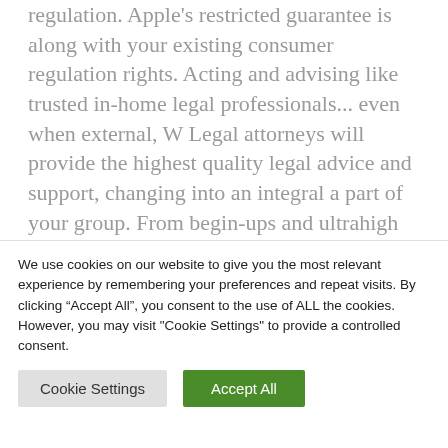regulation. Apple's restricted guarantee is along with your existing consumer regulation rights. Acting and advising like trusted in-home legal professionals... even when external, W Legal attorneys will provide the highest quality legal advice and support, changing into an integral a part of your group. From begin-ups and ultrahigh net price individuals to FTSE a hundred and large multinationals, W Legal's clients are always treated 'like our solely shopper'.
We use cookies on our website to give you the most relevant experience by remembering your preferences and repeat visits. By clicking "Accept All", you consent to the use of ALL the cookies. However, you may visit "Cookie Settings" to provide a controlled consent.